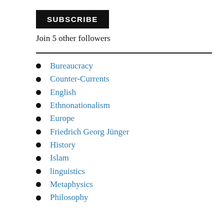[Figure (other): SUBSCRIBE button — black rectangle with white bold uppercase text]
Join 5 other followers
Bureaucracy
Counter-Currents
English
Ethnonationalism
Europe
Friedrich Georg Jünger
History
Islam
linguistics
Metaphysics
Philosophy